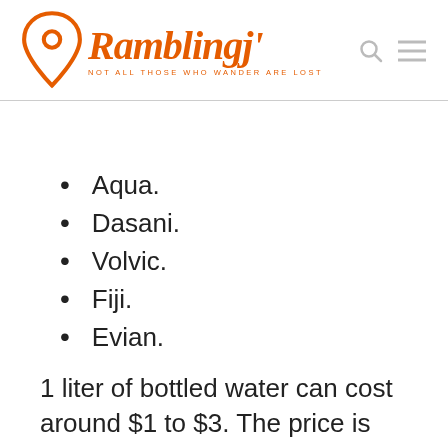RamblingJ — NOT ALL THOSE WHO WANDER ARE LOST
Aqua.
Dasani.
Volvic.
Fiji.
Evian.
1 liter of bottled water can cost around $1 to $3. The price...